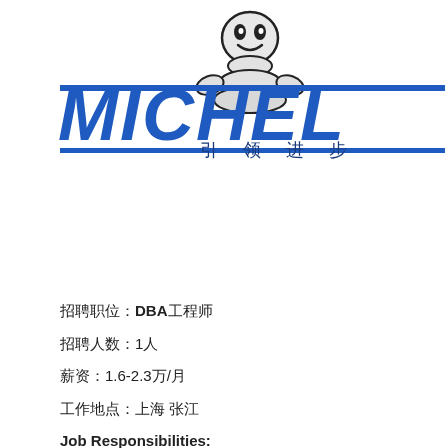[Figure (logo): Michelin logo with Bibendum mascot and bold blue MICHELIN text, partially cropped on the right]
引 领 进 步
招聘职位：DBA工程师
招聘人数：1人
薪资：1.6-2.3万/月
工作地点：上海 张江
Job Responsibilities: